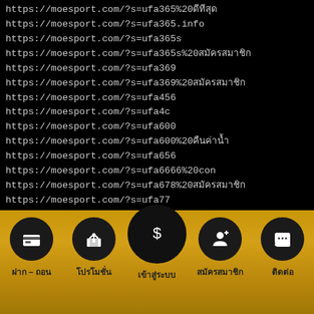https://moesport.com/?s=ufa365%20ที่ดีที่สุด
https://moesport.com/?s=ufa365.info
https://moesport.com/?s=ufa365s
https://moesport.com/?s=ufa365s%20สมัครสมาชิก
https://moesport.com/?s=ufa369
https://moesport.com/?s=ufa369%20สมัครสมาชิก
https://moesport.com/?s=ufa456
https://moesport.com/?s=ufa4c
https://moesport.com/?s=ufa600
https://moesport.com/?s=ufa600%20คืนค่าน้ำ
https://moesport.com/?s=ufa656
https://moesport.com/?s=ufa6666%20con
https://moesport.com/?s=ufa678%20สมัครสมาชิก
https://moesport.com/?s=ufa77
https://moesport.com/?s=ufa777
https://moesport.com/?s=ufa777%20สมัครสมาชิก
https://moesport.com/?s=ufa7777%20com
[Figure (infographic): Navigation bar with golden background and 5 circular black icon buttons: ฝาก-ถอน (deposit-withdraw), โปรโมชั่น (promotion), เข้าสู่ระบบ (login, larger center icon), สมัครสมาชิก (register), ติดต่อ (contact)]